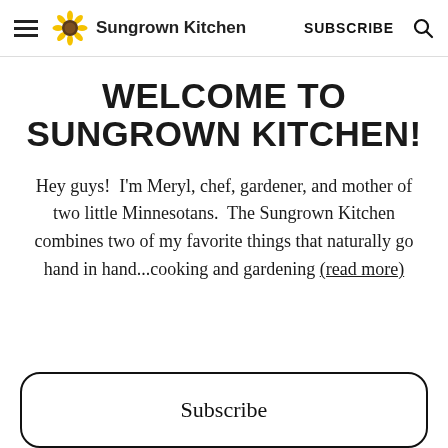Sungrown Kitchen  SUBSCRIBE
WELCOME TO SUNGROWN KITCHEN!
Hey guys!  I'm Meryl, chef, gardener, and mother of two little Minnesotans.  The Sungrown Kitchen combines two of my favorite things that naturally go hand in hand...cooking and gardening (read more)